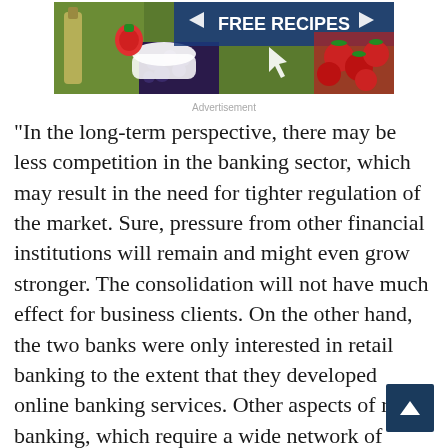[Figure (photo): Advertisement banner showing food items (olive oil, strawberries, blueberries, tomatoes) with text FREE RECIPES in bold white on blue background and a cursor arrow graphic]
Advertisement
“In the long-term perspective, there may be less competition in the banking sector, which may result in the need for tighter regulation of the market. Sure, pressure from other financial institutions will remain and might even grow stronger. The consolidation will not have much effect for business clients. On the other hand, the two banks were only interested in retail banking to the extent that they developed online banking services. Other aspects of retail banking, which require a wide network of servicing centres, was not a priority for either,’ Valužis says.